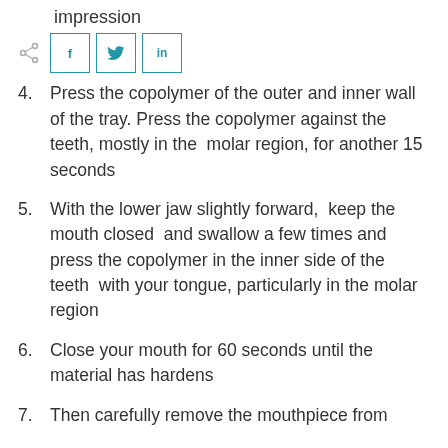impression
[Figure (other): Social share bar with share icon and three social media buttons: f (Facebook), twitter bird, in (LinkedIn)]
4. Press the copolymer of the outer and inner wall of the tray. Press the copolymer against the teeth, mostly in the molar region, for another 15 seconds
5. With the lower jaw slightly forward, keep the mouth closed and swallow a few times and press the copolymer in the inner side of the teeth with your tongue, particularly in the molar region
6. Close your mouth for 60 seconds until the material has hardens
7. Then carefully remove the mouthpiece from